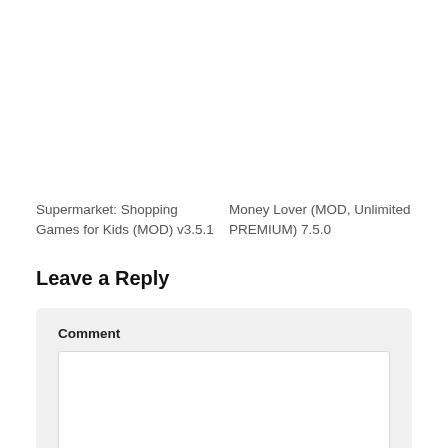Supermarket: Shopping Games for Kids (MOD) v3.5.1
Money Lover (MOD, Unlimited PREMIUM) 7.5.0
Leave a Reply
Comment